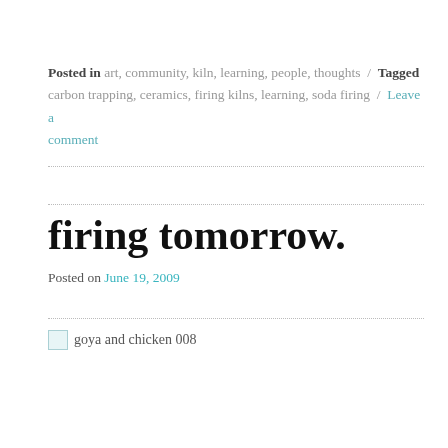Posted in art, community, kiln, learning, people, thoughts / Tagged carbon trapping, ceramics, firing kilns, learning, soda firing / Leave a comment
firing tomorrow.
Posted on June 19, 2009
[Figure (photo): Broken image placeholder with alt text 'goya and chicken 008']